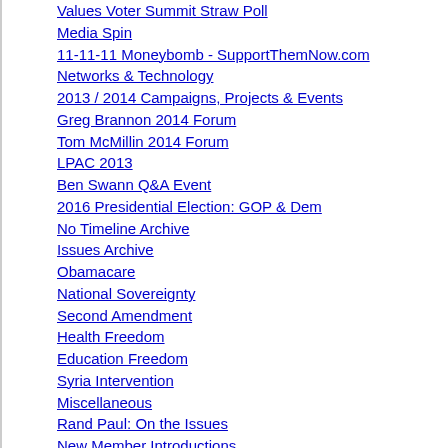Values Voter Summit Straw Poll
Media Spin
11-11-11 Moneybomb - SupportThemNow.com
Networks & Technology
2013 / 2014 Campaigns, Projects & Events
Greg Brannon 2014 Forum
Tom McMillin 2014 Forum
LPAC 2013
Ben Swann Q&A Event
2016 Presidential Election: GOP & Dem
No Timeline Archive
Issues Archive
Obamacare
National Sovereignty
Second Amendment
Health Freedom
Education Freedom
Syria Intervention
Miscellaneous
Rand Paul: On the Issues
New Member Introductions
Campaign for Liberty
Young Americans for Liberty